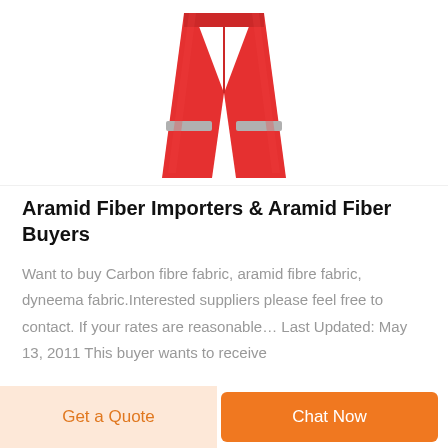[Figure (photo): Red safety work pants/trousers with reflective grey stripes on the lower legs, displayed on a white background.]
Aramid Fiber Importers & Aramid Fiber Buyers
Want to buy Carbon fibre fabric, aramid fibre fabric, dyneema fabric.Interested suppliers please feel free to contact. If your rates are reasonable… Last Updated: May 13, 2011 This buyer wants to receive